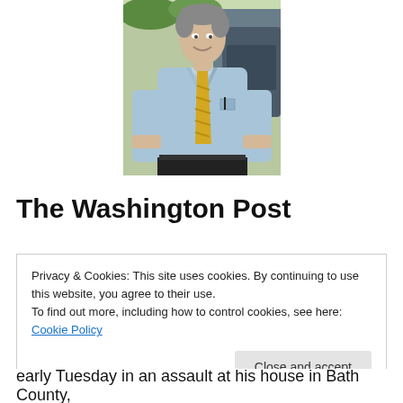[Figure (photo): A man in a light blue dress shirt with rolled-up sleeves and a yellow striped tie, smiling, outdoors near a car with greenery in the background. Photo is cropped showing torso and head.]
The Washington Post
Privacy & Cookies: This site uses cookies. By continuing to use this website, you agree to their use.
To find out more, including how to control cookies, see here: Cookie Policy
Close and accept
early Tuesday in an assault at his house in Bath County,